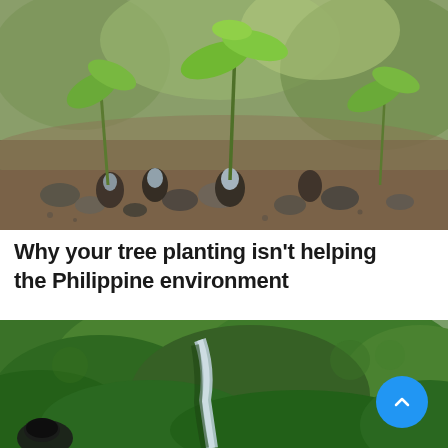[Figure (photo): Close-up macro photo of tree seedlings sprouting from soil among small rocks and seeds, with water droplets visible on the seeds. Shallow depth of field with green leaves in foreground and blurred background.]
Why your tree planting isn't helping the Philippine environment
[Figure (photo): Aerial or elevated view of a lush green forested hillside with a river or stream running through a gorge below. A person with dark hair is partially visible in the lower left foreground.]